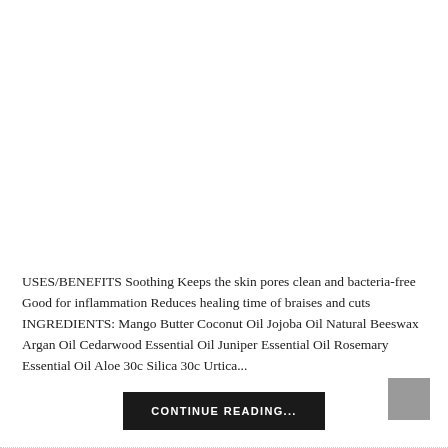[Figure (photo): Large white/blank image area occupying the top portion of the page]
USES/BENEFITS Soothing Keeps the skin pores clean and bacteria-free Good for inflammation Reduces healing time of braises and cuts   INGREDIENTS: Mango Butter Coconut Oil Jojoba Oil Natural Beeswax Argan Oil Cedarwood Essential Oil Juniper Essential Oil Rosemary Essential Oil Aloe 30c Silica 30c Urtica...
CONTINUE READING...